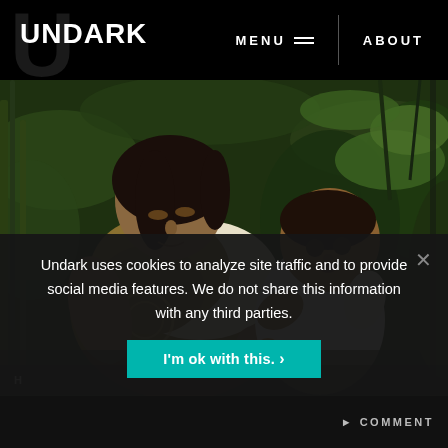UNDARK | MENU | ABOUT
[Figure (photo): A woman in a yellow patterned dress holds a baby in a jungle/forest setting. The baby is reaching toward something the woman is offering. Green tropical foliage in background.]
Undark uses cookies to analyze site traffic and to provide social media features. We do not share this information with any third parties.
I'm ok with this.
COMMENT